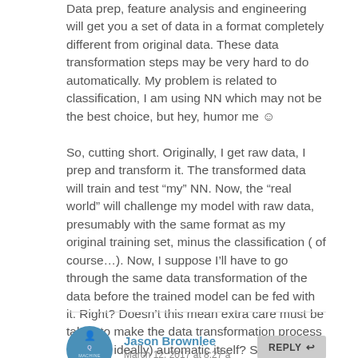Data prep, feature analysis and engineering will get you a set of data in a format completely different from original data. These data transformation steps may be very hard to do automatically. My problem is related to classification, I am using NN which may not be the best choice, but hey, humor me ☺ So, cutting short. Originally, I get raw data, I prep and transform it. The transformed data will train and test “my” NN. Now, the “real world” will challenge my model with raw data, presumably with the same format as my original training set, minus the classification ( of course…). Now, I suppose I’ll have to go through the same data transformation of the data before the trained model can be fed with it. Right? Doesn’t this mean extra care must be taken to make the data transformation process (at least ideally) automatic itself? Sorry for the long question, hope to hear your thoughts on these points. And thank you once again!
Jason Brownlee March 12, 2017 at 8:27 a